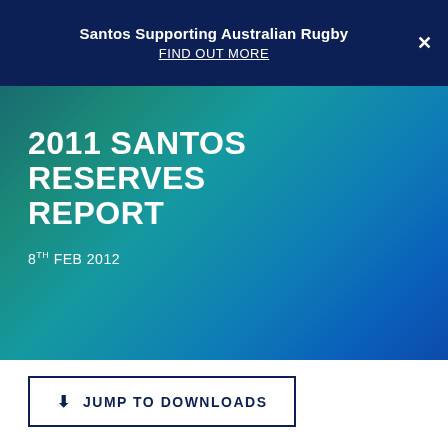Santos Supporting Australian Rugby
FIND OUT MORE
2011 SANTOS RESERVES REPORT
8TH FEB 2012
↓ JUMP TO DOWNLOADS
SUMMARY